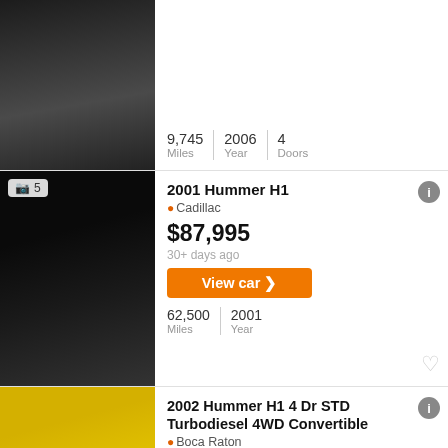[Figure (photo): Partial view of a dark vehicle, bottom portion visible, showing large wheel/tire]
9,745 Miles | 2006 Year | 4 Doors
[Figure (photo): 2001 Hummer H1 in black with large chrome wheels, parked on brick surface]
2001 Hummer H1
Cadillac
$87,995
30+ days ago
View car >
62,500 Miles | 2001 Year
[Figure (photo): 2002 Hummer H1 in yellow with black wheels, full side view]
2002 Hummer H1 4 Dr STD Turbodiesel 4WD Convertible
Boca Raton
$80,440
16 days ago
View car >
76,377 Miles | 2002 Year | 4 Doors
[Figure (photo): Partial bottom view of a red vehicle]